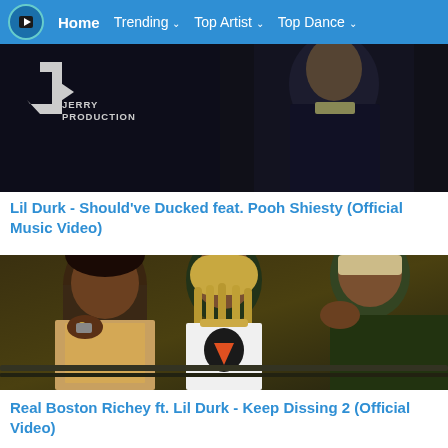Home   Trending   Top Artist   Top Dance
[Figure (screenshot): Music video thumbnail showing person in dark jacket with 'Jerry Production' logo overlay]
Lil Durk - Should've Ducked feat. Pooh Shiesty (Official Music Video)
[Figure (screenshot): Music video thumbnail showing three men, one in white t-shirt with logo, others with gold chains]
Real Boston Richey ft. Lil Durk - Keep Dissing 2 (Official Video)